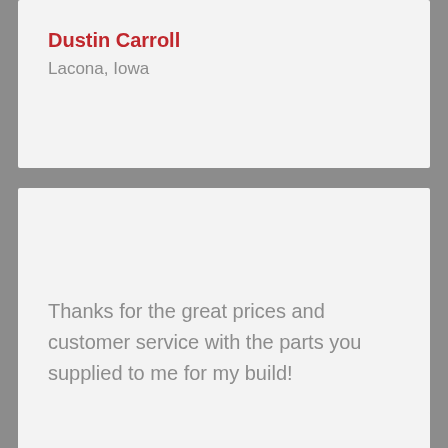Dustin Carroll
Lacona, Iowa
Thanks for the great prices and customer service with the parts you supplied to me for my build!
Douglas Dugo
April 19, 2015